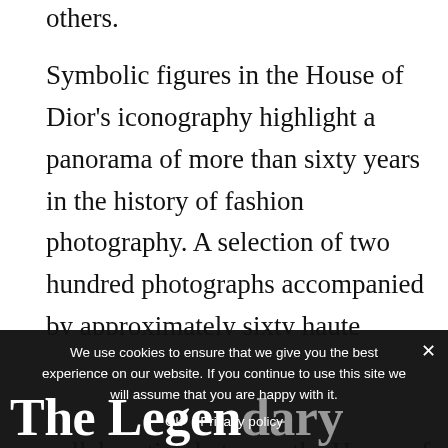others.
Symbolic figures in the House of Dior's iconography highlight a panorama of more than sixty years in the history of fashion photography. A selection of two hundred photographs accompanied by approximately sixty haute couture dresses and archival documents illustrate the collaboration between the House of Dior and its artistic directors – from Christian Dior to Raf Simons – and more than eighty photography
greats from the mid-20th through the early 21st c
We use cookies to ensure that we give you the best experience on our website. If you continue to use this site we will assume that you are happy with it.
Ok   Privacy policy
The Legendary Images